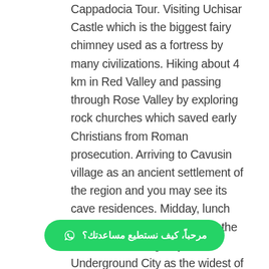Cappadocia Tour. Visiting Uchisar Castle which is the biggest fairy chimney used as a fortress by many civilizations. Hiking about 4 km in Red Valley and passing through Rose Valley by exploring rock churches which saved early Christians from Roman prosecution. Arriving to Cavusin village as an ancient settlement of the region and you may see its cave residences. Midday, lunch break in a local restaurant. In the afternoon, visiting Kaymaklı Underground City as the widest of the Cappadocia and it was used by refugees or people running away from catastrophes. Pigeon Valley offers a nice view over Uchisar Castle and it has pigeons still living in pigeon houses. The last visit to Three Beauties Valley which is famous with its vine factories and stunning view. End of the tour transfer to air... Arrival to airport, pick up by agent and transfer
[Figure (other): WhatsApp chat widget button with green background showing Arabic text: مرحباً، كيف نستطيع مساعدتك؟ (Hello, how can we help you?) with WhatsApp logo icon]